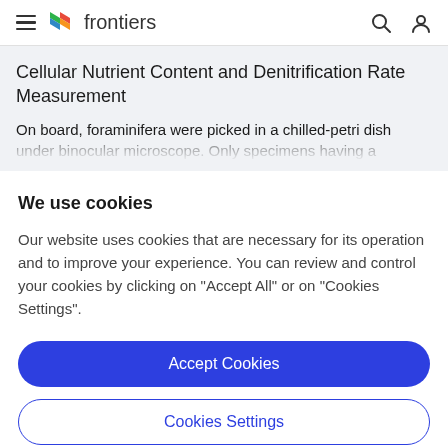frontiers
Cellular Nutrient Content and Denitrification Rate Measurement
On board, foraminifera were picked in a chilled-petri dish under binocular microscope. Only specimens having a
We use cookies
Our website uses cookies that are necessary for its operation and to improve your experience. You can review and control your cookies by clicking on "Accept All" or on "Cookies Settings".
Accept Cookies
Cookies Settings